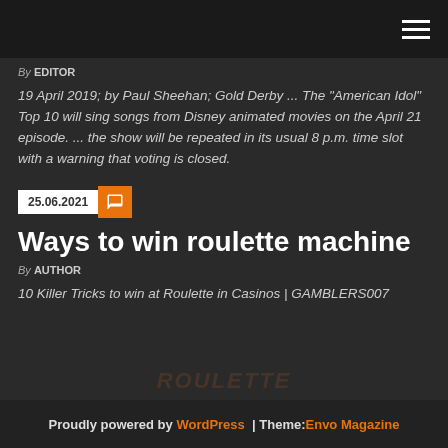By EDITOR
19 April 2019; by Paul Sheehan; Gold Derby ... The "American Idol" Top 10 will sing songs from Disney animated movies on the April 21 episode. ... the show will be repeated in its usual 8 p.m. time slot with a warning that voting is closed.
25.06.2021
Ways to win roulette machine
By AUTHOR
10 Killer Tricks to win at Roulette in Casinos | GAMBLERS007
Proudly powered by WordPress | Theme: Envo Magazine